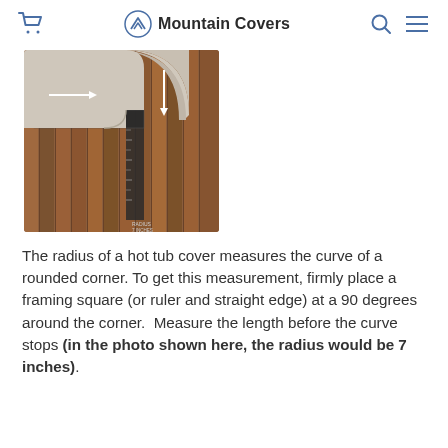Mountain Covers
[Figure (photo): Top-down view of a hot tub corner with a framing square/ruler placed at 90 degrees around the rounded corner. Two white arrows point inward along each arm of the ruler. The hot tub surface is beige/grey, and the deck beneath is brown wood slats.]
The radius of a hot tub cover measures the curve of a rounded corner. To get this measurement, firmly place a framing square (or ruler and straight edge) at a 90 degrees around the corner.  Measure the length before the curve stops (in the photo shown here, the radius would be 7 inches).